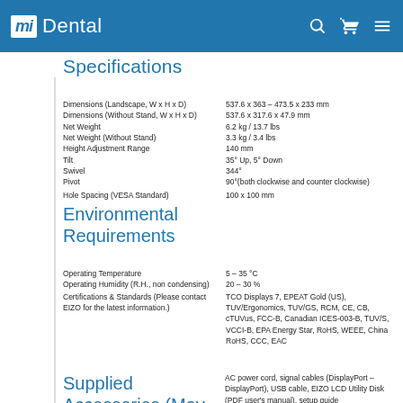Mi Dental
Specifications
| Property | Value |
| --- | --- |
| Dimensions (Landscape, W x H x D) | 537.6 x 363 – 473.5 x 233 mm |
| Dimensions (Without Stand, W x H x D) | 537.6 x 317.6 x 47.9 mm |
| Net Weight | 6.2 kg / 13.7 lbs |
| Net Weight (Without Stand) | 3.3 kg / 3.4 lbs |
| Height Adjustment Range | 140 mm |
| Tilt | 35° Up, 5° Down |
| Swivel | 344° |
| Pivot | 90°(both clockwise and counter clockwise) |
| Hole Spacing (VESA Standard) | 100 x 100 mm |
Environmental Requirements
| Property | Value |
| --- | --- |
| Operating Temperature | 5 – 35 °C |
| Operating Humidity (R.H., non condensing) | 20 – 30 % |
| Certifications & Standards (Please contact EIZO for the latest information.) | TCO Displays 7, EPEAT Gold (US), TUV/Ergonomics, TUV/GS, RCM, CE, CB, cTUVus, FCC-B, Canadian ICES-003-B, TUV/S, VCCI-B, EPA Energy Star, RoHS, WEEE, China RoHS, CCC, EAC |
Supplied Accessories (May
AC power cord, signal cables (DisplayPort – DisplayPort), USB cable, EIZO LCD Utility Disk (PDF user's manual), setup guide